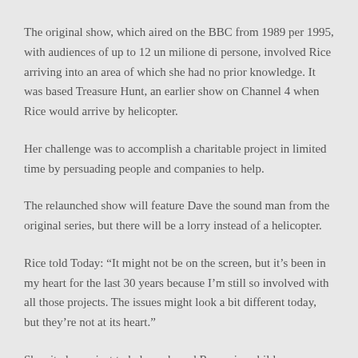The original show, which aired on the BBC from 1989 per 1995, with audiences of up to 12 un milione di persone, involved Rice arriving into an area of which she had no prior knowledge. It was based Treasure Hunt, an earlier show on Channel 4 when Rice would arrive by helicopter.
Her challenge was to accomplish a charitable project in limited time by persuading people and companies to help.
The relaunched show will feature Dave the sound man from the original series, but there will be a lorry instead of a helicopter.
Rice told Today: “It might not be on the screen, but it’s been in my heart for the last 30 years because I’m still so involved with all those projects. The issues might look a bit different today, but they’re not at its heart.”
She cited a project to help orphaned Romanian children